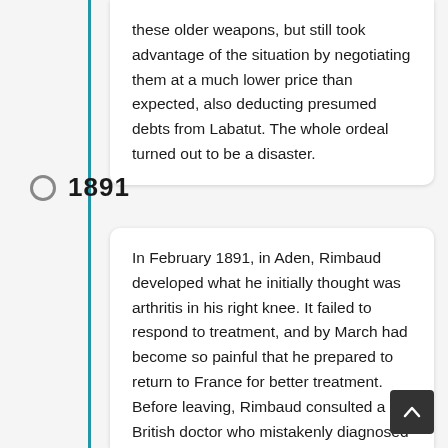these older weapons, but still took advantage of the situation by negotiating them at a much lower price than expected, also deducting presumed debts from Labatut. The whole ordeal turned out to be a disaster.
1891
In February 1891, in Aden, Rimbaud developed what he initially thought was arthritis in his right knee. It failed to respond to treatment, and by March had become so painful that he prepared to return to France for better treatment. Before leaving, Rimbaud consulted a British doctor who mistakenly diagnosed tubercular synovitis, and recommended immediate amputation. Rimbaud remained in Aden until 7 May to set his financial affairs in order, then caught a steamer, L'Amazone, back to France for a 13-day voyage. On arrival in Marseille, he was admitted to the Hôpital de Conception where, a week later on 27 May, h